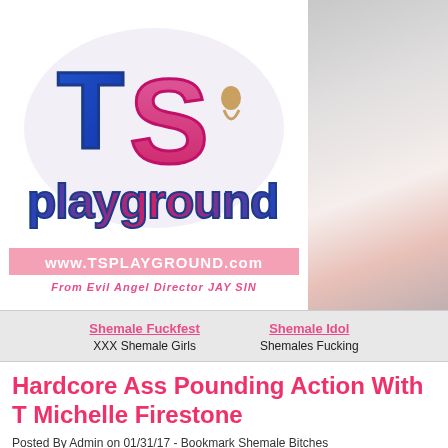[Figure (logo): TS Playground logo with colorful stylized text, www.TSPLAYGROUND.com URL bar, and tagline 'From Evil Angel Director JAY SIN']
[Figure (photo): Partial photo of a person on white background]
Shemale Fuckfest
XXX Shemale Girls
Shemale Idol
Shemales Fucking
Hardcore Ass Pounding Action With T Michelle Firestone
Posted By Admin on 01/31/17 - Bookmark Shemale Bitches